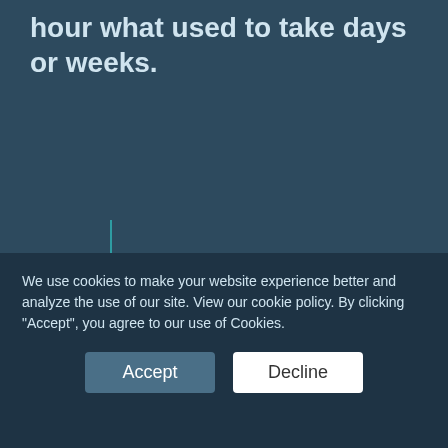hour what used to take days or weeks.
[Figure (screenshot): Tablet/screen mockup showing an Account Overview interface with two account cards. First card: Account 12476-IH-00, Account Type Individual, Portfolio $720.0000, Status Complete (green badge), Parties Jane Doe, with a View button. Second card: Account 12476-IH-00, Account Type Joint Account.]
We use cookies to make your website experience better and analyze the use of our site. View our cookie policy. By clicking "Accept", you agree to our use of Cookies.
Accept
Decline